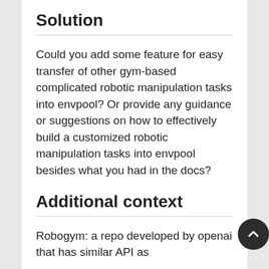Solution
Could you add some feature for easy transfer of other gym-based complicated robotic manipulation tasks into envpool? Or provide any guidance or suggestions on how to effectively build a customized robotic manipulation tasks into envpool besides what you had in the docs?
Additional context
Robogym: a repo developed by openai that has similar API as